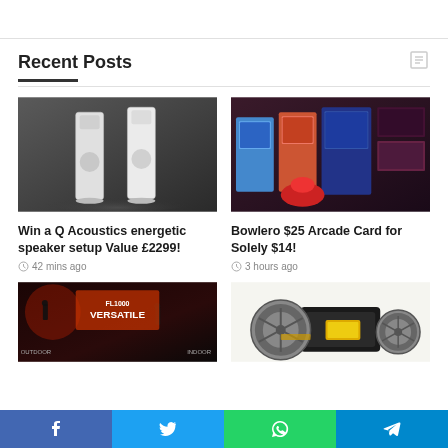Recent Posts
[Figure (photo): Two tall white Q Acoustics tower speakers on dark gradient background]
Win a Q Acoustics energetic speaker setup Value £2299!
42 mins ago
[Figure (photo): Colorful arcade game machines in a dark bowling alley environment, including racing and shooting games]
Bowlero $25 Arcade Card for Solely $14!
3 hours ago
[Figure (photo): FL1000 VERSATILE flashlight advertisement showing OUTDOOR and INDOOR text on dark reddish background]
[Figure (photo): Film reel scanner/converter device with two film reels]